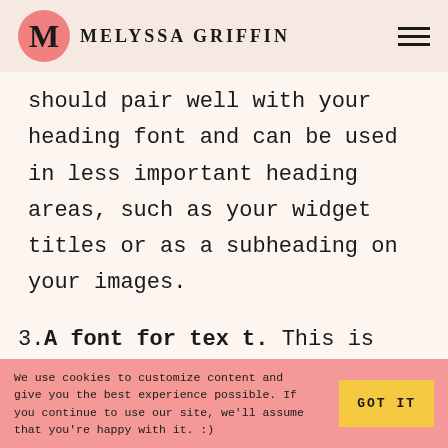Melyssa Griffin
should pair well with your heading font and can be used in less important heading areas, such as your widget titles or as a subheading on your images.
3. A font for text. This is simple — the font you use for your body text in posts, on pages, and anywhere else
We use cookies to customize content and give you the best experience possible. If you continue to use our site, we'll assume that you're happy with it. :)